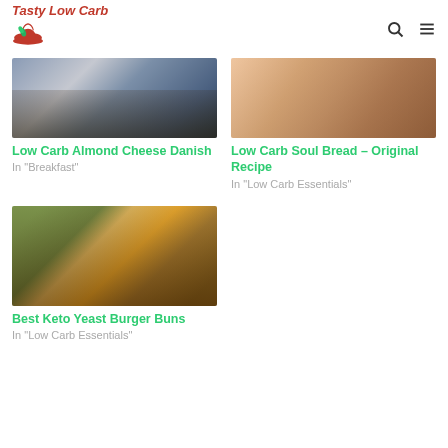Tasty Low Carb
[Figure (photo): Photo of Low Carb Almond Cheese Danish on a blue plate]
Low Carb Almond Cheese Danish
In "Breakfast"
[Figure (photo): Photo of Low Carb Soul Bread on a baking tray]
Low Carb Soul Bread – Original Recipe
In "Low Carb Essentials"
[Figure (photo): Photo of Best Keto Yeast Burger Buns on a wooden board]
Best Keto Yeast Burger Buns
In "Low Carb Essentials"